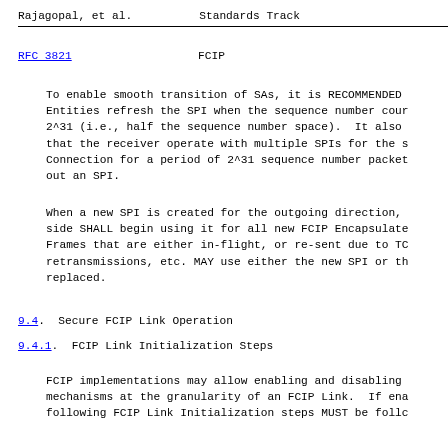Rajagopal, et al.          Standards Track
RFC 3821                           FCIP
To enable smooth transition of SAs, it is RECOMMENDED that FCIP Entities refresh the SPI when the sequence number count reaches 2^31 (i.e., half the sequence number space).  It also is RECOMMENDED that the receiver operate with multiple SPIs for the same FCIP Connection for a period of 2^31 sequence number packets before timing out an SPI.
When a new SPI is created for the outgoing direction, the outgoing side SHALL begin using it for all new FCIP Encapsulated FC Frames that are either in-flight, or re-sent due to TCP retransmissions, etc. MAY use either the new SPI or the one being replaced.
9.4.  Secure FCIP Link Operation
9.4.1.  FCIP Link Initialization Steps
FCIP implementations may allow enabling and disabling security mechanisms at the granularity of an FCIP Link.  If enabled, the following FCIP Link Initialization steps MUST be follo